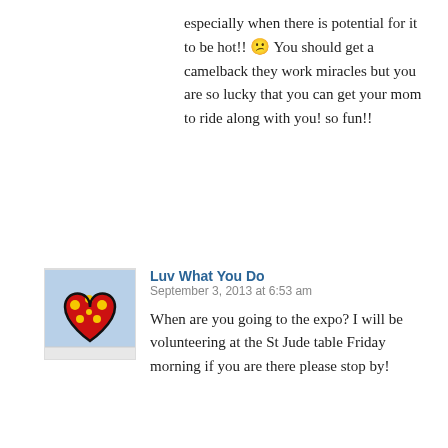especially when there is potential for it to be hot!! 😕 You should get a camelback they work miracles but you are so lucky that you can get your mom to ride along with you! so fun!!
[Figure (photo): A colorful artwork/sculpture of a heart shape with red, yellow polka dots and blue background, displayed in what appears to be a gallery or shop setting.]
Luv What You Do
September 3, 2013 at 6:53 am
When are you going to the expo? I will be volunteering at the St Jude table Friday morning if you are there please stop by!